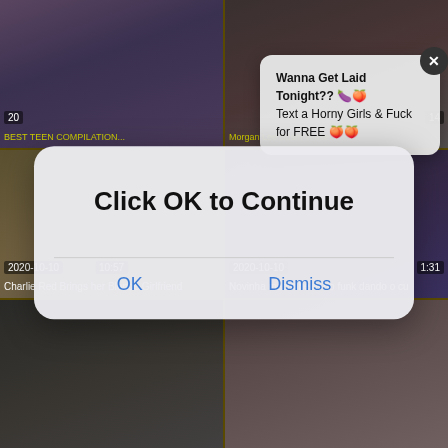[Figure (screenshot): Video grid with 6 thumbnail cells showing adult video content, 2 columns x 3 rows with gold borders]
Wanna Get Laid Tonight?? 🍆🍑
Text a Horny Girls & Fuck for FREE 🍑🍑
Click OK to Continue
OK    Dismiss
2020-10-10
10:57
2020-10-10
1:31
Charlie Red Brings her Blonde Girlfriend
Novinha maconheira do funk dando o cu
20
14